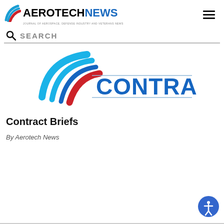AEROTECHNEWS — Journal of Aerospace, Defense Industry and Veterans News
SEARCH
[Figure (logo): Aerotech News Contracts logo with blue and red swoosh design and the word CONTRACTS in blue bold text]
Contract Briefs
By Aerotech News